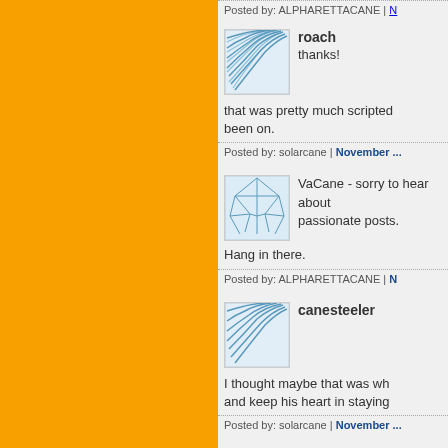Posted by: ALPHARETTACANE | N...
[Figure (illustration): Avatar icon with fan/wave pattern in light blue]
roach
thanks!
that was pretty much scripted been on.
Posted by: solarcane | November ...
[Figure (illustration): Avatar icon with web/network pattern in light blue]
VaCane - sorry to hear about passionate posts.
Hang in there.
Posted by: ALPHARETTACANE | N...
[Figure (illustration): Avatar icon with fan/wave pattern in light blue]
canesteeler
I thought maybe that was wh and keep his heart in staying
Posted by: solarcane | November ...